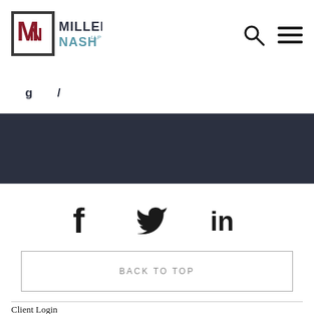[Figure (logo): Miller Nash LLP logo with 'MN' monogram in a square bracket design, dark red and teal colors]
[Figure (infographic): Search icon (magnifying glass) and hamburger menu icon in dark color, top right navigation]
[Figure (infographic): Dark navy blue band with partial white content bar visible at top]
[Figure (infographic): Social media icons: Facebook (f), Twitter (bird), LinkedIn (in) in dark color on white background]
BACK TO TOP
Client Login
Locations